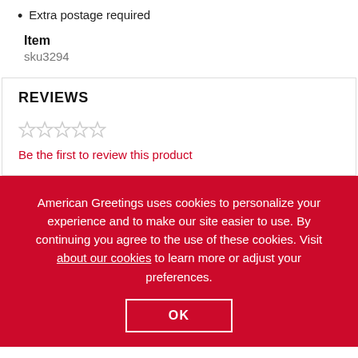Extra postage required
Item
sku3294
REVIEWS
Be the first to review this product
American Greetings uses cookies to personalize your experience and to make our site easier to use. By continuing you agree to the use of these cookies. Visit about our cookies to learn more or adjust your preferences.
OK